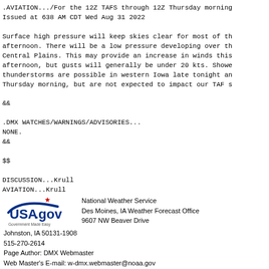.AVIATION.../For the 12Z TAFS through 12Z Thursday morning
Issued at 638 AM CDT Wed Aug 31 2022

Surface high pressure will keep skies clear for most of th
afternoon. There will be a low pressure developing over th
Central Plains. This may provide an increase in winds this
afternoon, but gusts will generally be under 20 kts. Showe
thunderstorms are possible in western Iowa late tonight an
Thursday morning, but are not expected to impact our TAF s

&&

.DMX WATCHES/WARNINGS/ADVISORIES...
NONE.
&&

$$

DISCUSSION...Krull
AVIATION...Krull
National Weather Service
Des Moines, IA Weather Forecast Office
9607 NW Beaver Drive
Johnston, IA 50131-1908
515-270-2614
Page Author: DMX Webmaster
Web Master's E-mail: w-dmx.webmaster@noaa.gov